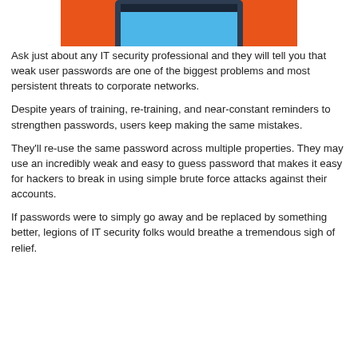[Figure (illustration): Flat illustration of a laptop computer with a blue screen, on an orange/red background, partially cropped at the top of the page.]
Ask just about any IT security professional and they will tell you that weak user passwords are one of the biggest problems and most persistent threats to corporate networks.
Despite years of training, re-training, and near-constant reminders to strengthen passwords, users keep making the same mistakes.
They'll re-use the same password across multiple properties. They may use an incredibly weak and easy to guess password that makes it easy for hackers to break in using simple brute force attacks against their accounts.
If passwords were to simply go away and be replaced by something better, legions of IT security folks would breathe a tremendous sigh of relief.